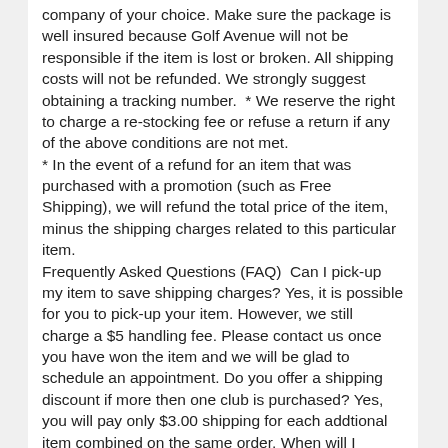company of your choice. Make sure the package is well insured because Golf Avenue will not be responsible if the item is lost or broken. All shipping costs will not be refunded. We strongly suggest obtaining a tracking number.  * We reserve the right to charge a re-stocking fee or refuse a return if any of the above conditions are not met.
* In the event of a refund for an item that was purchased with a promotion (such as Free Shipping), we will refund the total price of the item, minus the shipping charges related to this particular item.
Frequently Asked Questions (FAQ)  Can I pick-up my item to save shipping charges? Yes, it is possible for you to pick-up your item. However, we still charge a $5 handling fee. Please contact us once you have won the item and we will be glad to schedule an appointment. Do you offer a shipping discount if more then one club is purchased? Yes, you will pay only $3.00 shipping for each addtional item combined on the same order. When will I receive my tracking number? Once your item has been shipped, the tracking information will be sent